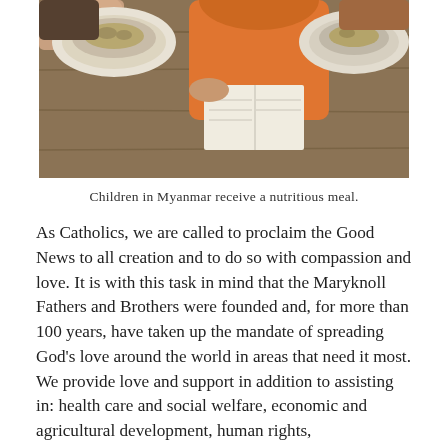[Figure (photo): Children in Myanmar sitting at a wooden table with bowls of food in front of them. A person wearing an orange top is visible, and there is a piece of paper on the table.]
Children in Myanmar receive a nutritious meal.
As Catholics, we are called to proclaim the Good News to all creation and to do so with compassion and love. It is with this task in mind that the Maryknoll Fathers and Brothers were founded and, for more than 100 years, have taken up the mandate of spreading God’s love around the world in areas that need it most. We provide love and support in addition to assisting in: health care and social welfare, economic and agricultural development, human rights, Evangelization and religious education, academic and vocational training, and communications ministry.
Here at home in the United States, we work tirelessly to increase awareness and understanding of our Christian